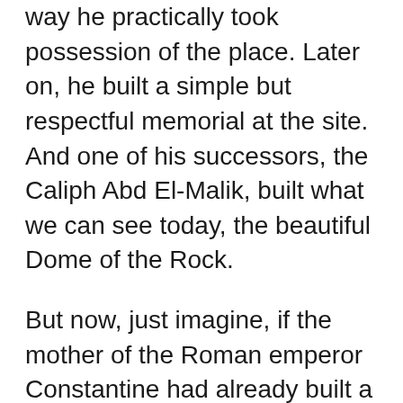people to clean up the place. That way he practically took possession of the place. Later on, he built a simple but respectful memorial at the site. And one of his successors, the Caliph Abd El-Malik, built what we can see today, the beautiful Dome of the Rock.
But now, just imagine, if the mother of the Roman emperor Constantine had already built a Christian memorial at the site. What difference that would